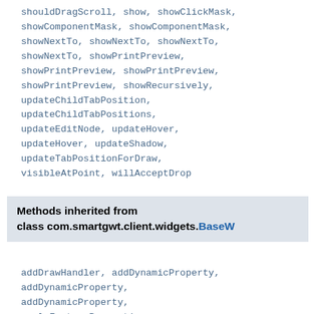shouldDragScroll, show, showClickMask, showComponentMask, showComponentMask, showNextTo, showNextTo, showNextTo, showNextTo, showPrintPreview, showPrintPreview, showPrintPreview, showPrintPreview, showRecursively, updateChildTabPosition, updateChildTabPositions, updateEditNode, updateHover, updateHover, updateShadow, updateTabPositionForDraw, visibleAtPoint, willAcceptDrop
Methods inherited from class com.smartgwt.client.widgets.BaseW
addDrawHandler, addDynamicProperty, addDynamicProperty, addDynamicProperty, applyFactoryProperties,